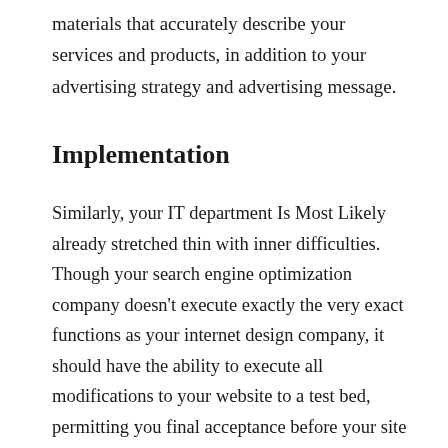materials that accurately describe your services and products, in addition to your advertising strategy and advertising message.
Implementation
Similarly, your IT department Is Most Likely already stretched thin with inner difficulties. Though your search engine optimization company doesn’t execute exactly the very exact functions as your internet design company, it should have the ability to execute all modifications to your website to a test bed, permitting you final acceptance before your site goes live. This may remove the demand for the IT people to become intensely involved with the procedure.